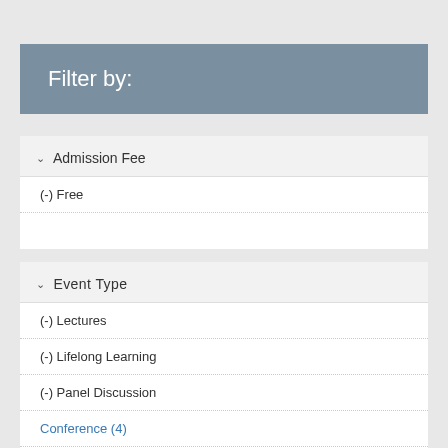Filter by:
Admission Fee
(-) Free
Event Type
(-) Lectures
(-) Lifelong Learning
(-) Panel Discussion
Conference (4)
Exhibition (1)